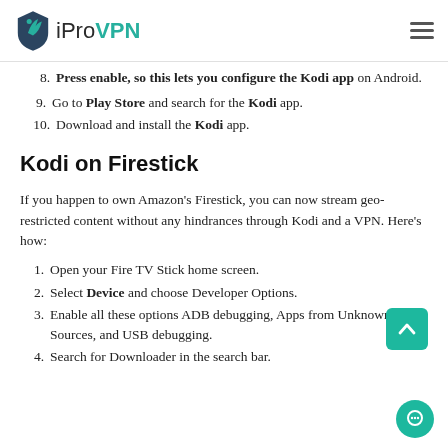iProVPN
8. Press enable, so this lets you configure the Kodi app on Android.
9. Go to Play Store and search for the Kodi app.
10. Download and install the Kodi app.
Kodi on Firestick
If you happen to own Amazon’s Firestick, you can now stream geo-restricted content without any hindrances through Kodi and a VPN. Here’s how:
1. Open your Fire TV Stick home screen.
2. Select Device and choose Developer Options.
3. Enable all these options ADB debugging, Apps from Unknown Sources, and USB debugging.
4. Search for Downloader in the search bar.